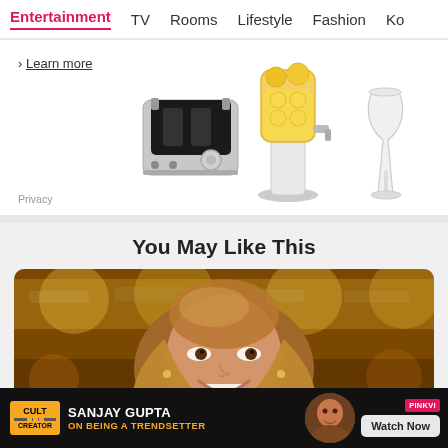Entertainment  TV  Rooms  Lifestyle  Fashion  Ko
[Figure (screenshot): Advertisement banner showing kitchen products: a toaster, a beverage dispenser with lemonade, and a wine glass. Includes a 'Learn more' link and 'Privacy' text.]
You May Like This
[Figure (photo): Photo of a smiling woman with long blonde hair at what appears to be an entertainment event with blurred golden lights in the background.]
[Figure (screenshot): Advertisement bar at the bottom: Cult Creator logo, 'SANJAY GUPTA ON BEING A TRENDSETTER', Pinkvi logo, Watch Now button, photo of Sanjay Gupta.]